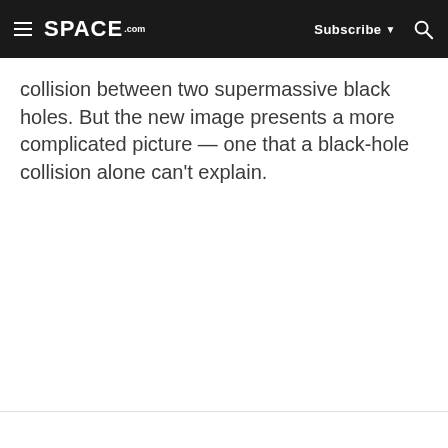SPACE.com — Subscribe — Search
collision between two supermassive black holes. But the new image presents a more complicated picture — one that a black-hole collision alone can't explain.